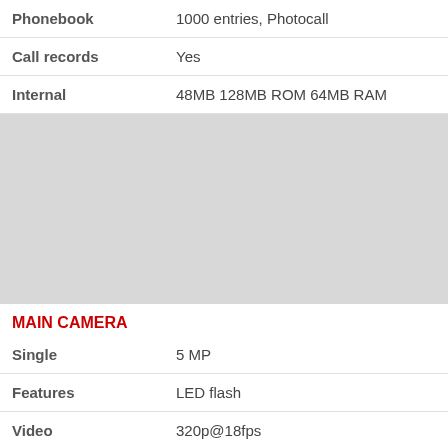| Feature | Value |
| --- | --- |
| Phonebook | 1000 entries, Photocall |
| Call records | Yes |
| Internal | 48MB 128MB ROM 64MB RAM |
[Figure (other): Gray placeholder block representing an advertisement or image area]
MAIN CAMERA
| Feature | Value |
| --- | --- |
| Single | 5 MP |
| Features | LED flash |
| Video | 320p@18fps |